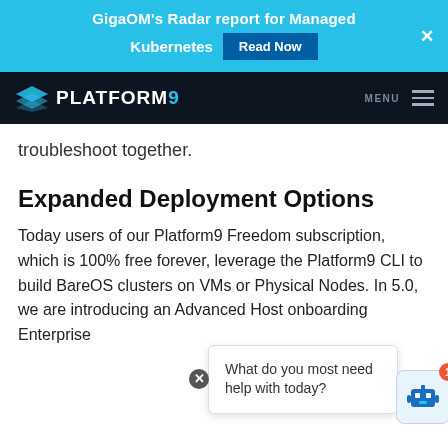GigaOM's Radar report for Managed Kubernetes  Read Now
[Figure (logo): Platform9 logo with diamond icon and navigation bar on dark background]
troubleshoot together.
Expanded Deployment Options
Today users of our Platform9 Freedom subscription, which is 100% free forever, leverage the Platform9 CLI to build BareOS clusters on VMs or Physical Nodes. In 5.0, we are introducing an Advanced Host onboarding Enterprise
[Figure (screenshot): Chat popup overlay asking 'What do you most need help with today?' with robot icon and notification badge showing 1]